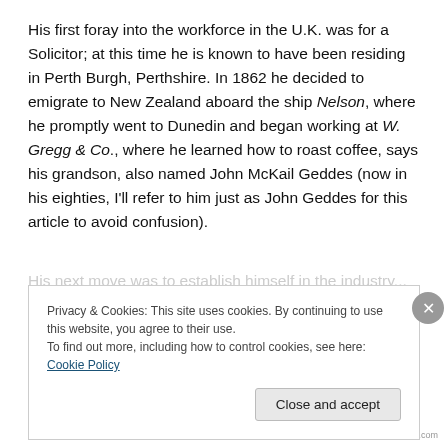His first foray into the workforce in the U.K. was for a Solicitor; at this time he is known to have been residing in Perth Burgh, Perthshire. In 1862 he decided to emigrate to New Zealand aboard the ship Nelson, where he promptly went to Dunedin and began working at W. Gregg & Co., where he learned how to roast coffee, says his grandson, also named John McKail Geddes (now in his eighties, I'll refer to him just as John Geddes for this article to avoid confusion).
Privacy & Cookies: This site uses cookies. By continuing to use this website, you agree to their use.
To find out more, including how to control cookies, see here: Cookie Policy
Close and accept